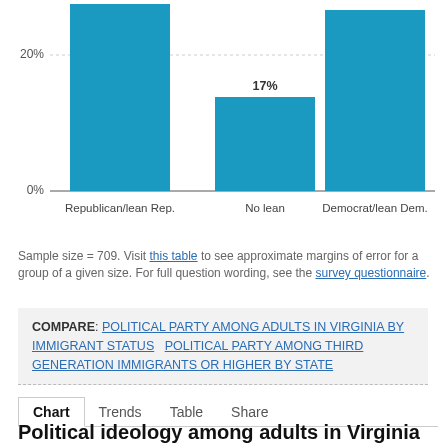[Figure (bar-chart): Political party by party affiliation]
Sample size = 709. Visit this table to see approximate margins of error for a group of a given size. For full question wording, see the survey questionnaire.
COMPARE: POLITICAL PARTY AMONG ADULTS IN VIRGINIA BY IMMIGRANT STATUS   POLITICAL PARTY AMONG THIRD GENERATION IMMIGRANTS OR HIGHER BY STATE
Chart   Trends   Table   Share
Political ideology among adults in Virginia who are